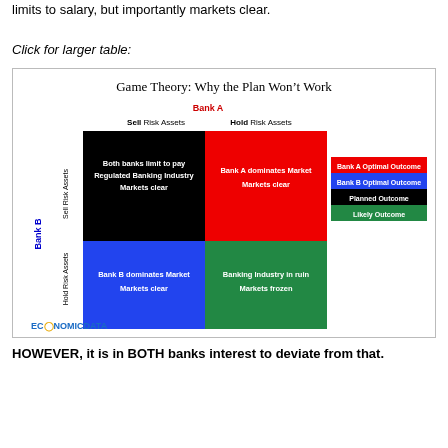limits to salary, but importantly markets clear.
Click for larger table:
[Figure (other): Game Theory payoff matrix titled 'Game Theory: Why the Plan Won't Work'. A 2x2 matrix with Bank A (columns: Sell Risk Assets, Hold Risk Assets) and Bank B (rows: Sell Risk Assets, Hold Risk Assets). Top-left black cell: 'Both banks limit to pay Regulated Banking Industry Markets clear'. Top-right red cell: 'Bank A dominates Market Markets clear'. Bottom-left blue cell: 'Bank B dominates Market Markets clear'. Bottom-right green cell: 'Banking Industry in ruin Markets frozen'. Legend: Bank A Optimal Outcome (red), Bank B Optimal Outcome (blue), Planned Outcome (black), Likely Outcome (green). EconomicData logo at bottom left.]
HOWEVER, it is in BOTH banks interest to deviate from that.